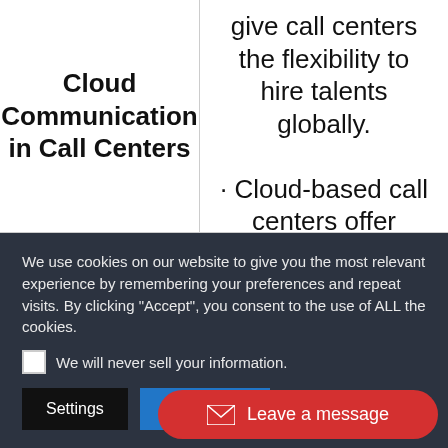Cloud Communication in Call Centers
give call centers the flexibility to hire talents globally.

· Cloud-based call centers offer enhanced
We use cookies on our website to give you the most relevant experience by remembering your preferences and repeat visits. By clicking "Accept", you consent to the use of ALL the cookies.
We will never sell your information.
Settings
I ACCEPT
Leave a message